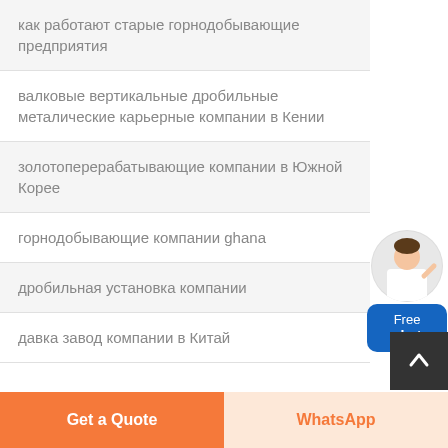как работают старые горнодобывающие предприятия
валковые вертикальные дробильные металические карьерные компании в Кении
золотоперерабатывающие компании в Южной Корее
горнодобывающие компании ghana
дробильная установка компании
давка завод компании в Китай
[Figure (illustration): Customer service representative chat widget with Free chat button]
Get a Quote
WhatsApp